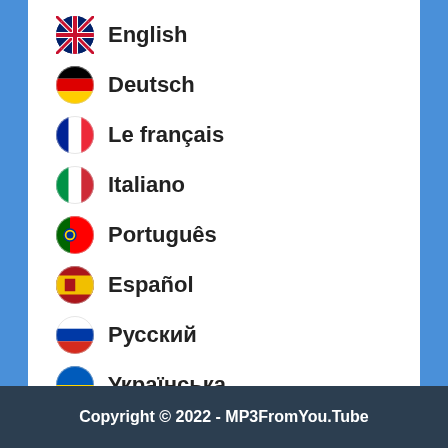English
Deutsch
Le français
Italiano
Português
Español
Русский
Українська
Türk
Више...
Copyright © 2022 - MP3FromYou.Tube